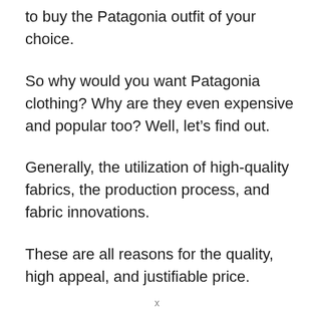to buy the Patagonia outfit of your choice.
So why would you want Patagonia clothing? Why are they even expensive and popular too? Well, let’s find out.
Generally, the utilization of high-quality fabrics, the production process, and fabric innovations.
These are all reasons for the quality, high appeal, and justifiable price.
x